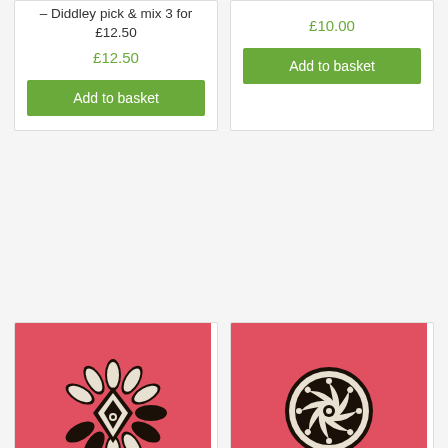– Diddley pick & mix  3 for £12.50
£12.50
Add to basket
£10.00
Add to basket
[Figure (photo): Mini Indian Wooden Printing Block – Ethnic 1, a carved wooden stamp with diamond/leaf pattern on red background]
Mini Indian Wooden Printing Block – Ethnic 1
[Figure (photo): Mini Indian Wooden Printing Block – Circle Design 1, a circular carved wooden stamp with swirl pattern on red background]
Mini Indian Wooden Printing Block – Circle Design 1